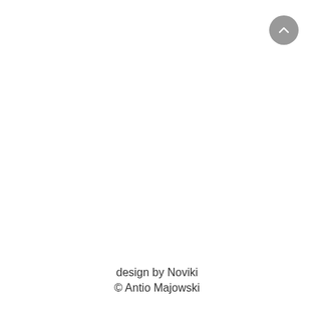[Figure (other): Gray circular button with upward-pointing chevron arrow icon, positioned in the top-right corner]
design by Noviki
© Antio Majowski
© Antio Majowski